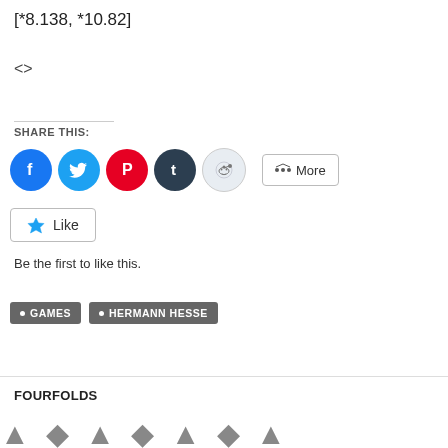[*8.138, *10.82]
<>
SHARE THIS:
[Figure (infographic): Social share buttons: Facebook (blue circle), Twitter (light blue circle), Pinterest (red circle), Tumblr (dark circle), Reddit (light grey circle), and a More button]
[Figure (infographic): Like button with blue star icon]
Be the first to like this.
• GAMES   • HERMANN HESSE
FOURFOLDS